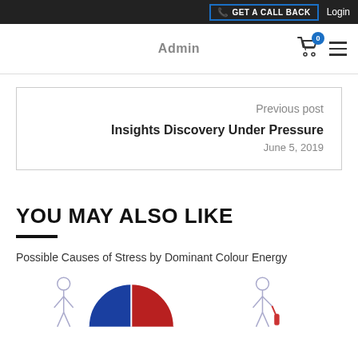GET A CALL BACK | Login
Admin
Previous post
Insights Discovery Under Pressure
June 5, 2019
YOU MAY ALSO LIKE
Possible Causes of Stress by Dominant Colour Energy
[Figure (illustration): Illustration showing figures and a half blue/half red circle chart related to stress and colour energy]